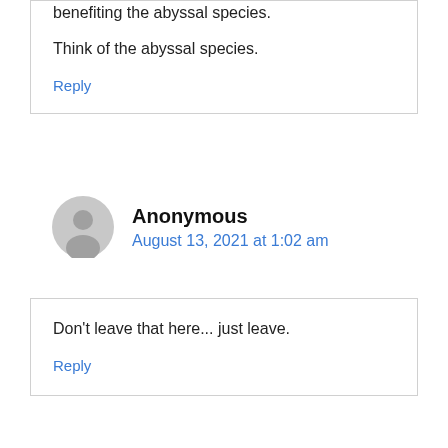benefiting the abyssal species.

Think of the abyssal species.
Reply
Anonymous
August 13, 2021 at 1:02 am
Don't leave that here... just leave.
Reply